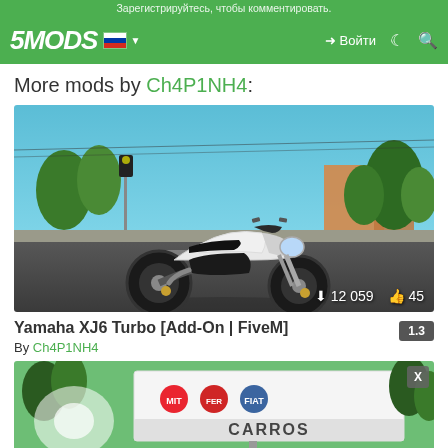Зарегистрируйтесь, чтобы комментировать.
[Figure (screenshot): 5MODS website navigation bar with logo, Russian flag, login button, moon icon, and search icon on green background]
More mods by Ch4P1NH4:
[Figure (photo): Screenshot of Yamaha XJ6 Turbo motorcycle mod in GTA V game environment, white and black motorcycle on a city street with palm trees and traffic lights. Stats overlay shows 12 059 downloads and 45 likes.]
Yamaha XJ6 Turbo [Add-On | FiveM]
By Ch4P1NH4
[Figure (screenshot): Partial screenshot of a second mod thumbnail showing a billboard with car brand logos (Mitsubishi, Ferrari, Fiat) and trees in background, with an X close button.]